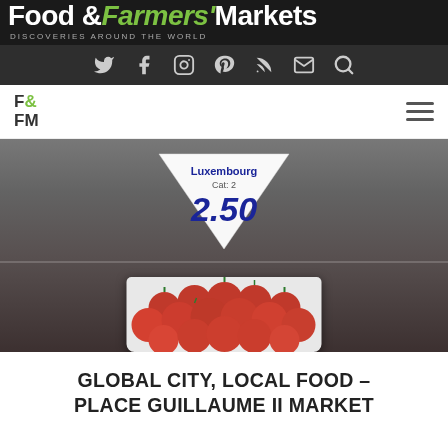Food & Farmers' Markets — DISCOVERIES AROUND THE WORLD
[Figure (logo): F&FM logo with social icons navigation bar]
[Figure (photo): A white plastic tray filled with cherry tomatoes with a triangular paper price sign reading 'Luxembourg Cat: 2  2.50' displayed at a farmers market]
GLOBAL CITY, LOCAL FOOD – PLACE GUILLAUME II MARKET